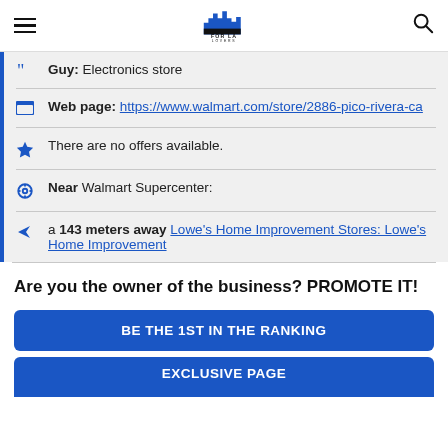FOR LA LOVERS (logo with hamburger menu and search icon)
Guy: Electronics store
Web page: https://www.walmart.com/store/2886-pico-rivera-ca
There are no offers available.
Near Walmart Supercenter:
a 143 meters away Lowe's Home Improvement Stores: Lowe's Home Improvement
Are you the owner of the business? PROMOTE IT!
BE THE 1ST IN THE RANKING
EXCLUSIVE PAGE